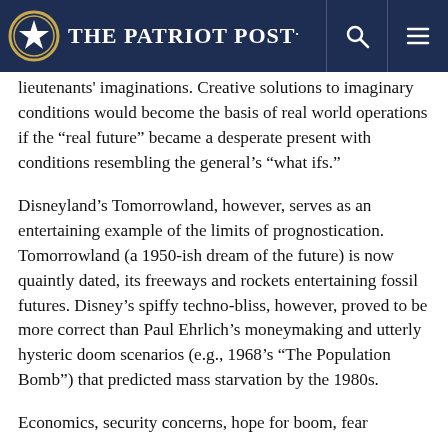The Patriot Post
lieutenants' imaginations. Creative solutions to imaginary conditions would become the basis of real world operations if the “real future” became a desperate present with conditions resembling the general’s “what ifs.”
Disneyland’s Tomorrowland, however, serves as an entertaining example of the limits of prognostication. Tomorrowland (a 1950-ish dream of the future) is now quaintly dated, its freeways and rockets entertaining fossil futures. Disney’s spiffy techno-bliss, however, proved to be more correct than Paul Ehrlich’s moneymaking and utterly hysteric doom scenarios (e.g., 1968’s “The Population Bomb”) that predicted mass starvation by the 1980s.
Economics, security concerns, hope for boom, fear